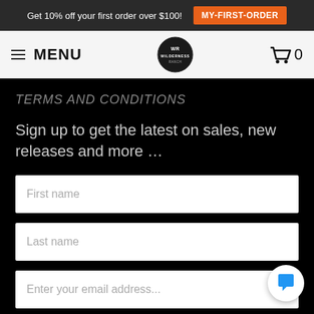Get 10% off your first order over $100! MY-FIRST-ORDER
MENU | Wilderness Ranch logo | Cart 0
TERMS AND CONDITIONS
Sign up to get the latest on sales, new releases and more …
First name
Last name
Enter your email address...
SIGN UP